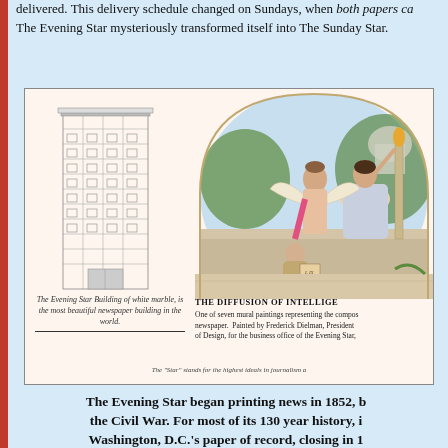delivered. This delivery schedule changed on Sundays, when both papers ca... The Evening Star mysteriously transformed itself into The Sunday Star.
[Figure (illustration): A vintage advertisement/postcard for The Evening Star newspaper. Left side shows a detailed architectural sketch of The Evening Star Building of white marble with caption 'The Evening Star Building of white marble, is the most beautiful newspaper building in the world.' Right side shows a colorful mural painting titled 'THE DIFFUSION OF INTELLIGE...' with classical allegorical figures including a seated woman with a torch, a winged figure, and a cherub writing. Caption reads 'One of seven mural paintings representing the compos... newspaper. Painted by Frederick Dielman, President... of Design, for the business office of the Evening Star...' Bottom text: 'The "Star" stands for the highest ideals in journalism a...']
The Evening Star began printing news in 1852, b... the Civil War. For most of its 130 year history, i... Washington, D.C.'s paper of record, closing in 1...